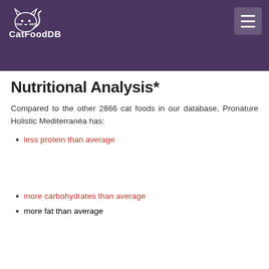CatFoodDB
Nutritional Analysis*
Compared to the other 2866 cat foods in our database, Pronature Holistic Mediterranéa has:
less protein than average
more carbohydrates than average
more fat than average